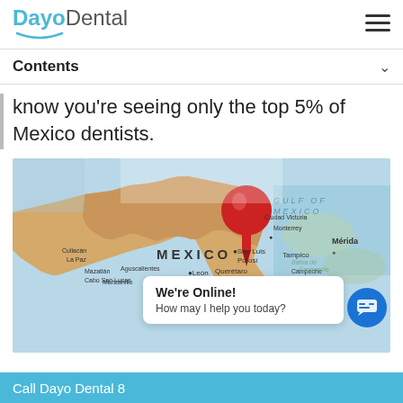DayoDental
Contents
know you're seeing only the top 5% of Mexico dentists.
[Figure (map): A map of Mexico with a red push pin marking a location in central Mexico, showing cities like Guadalajara, Mexico City area, Tampico, Mérida, and other Mexican cities and states.]
Call Dayo Dental 8...